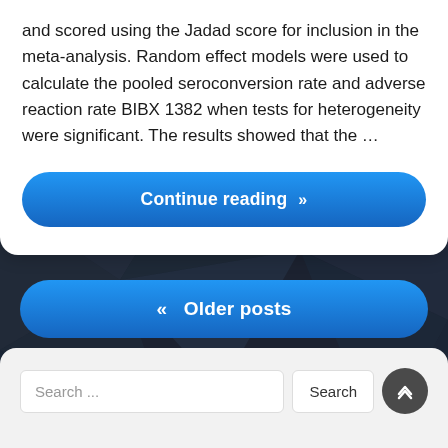and scored using the Jadad score for inclusion in the meta-analysis. Random effect models were used to calculate the pooled seroconversion rate and adverse reaction rate BIBX 1382 when tests for heterogeneity were significant. The results showed that the …
Continue reading »
« Older posts
Search ...
Search